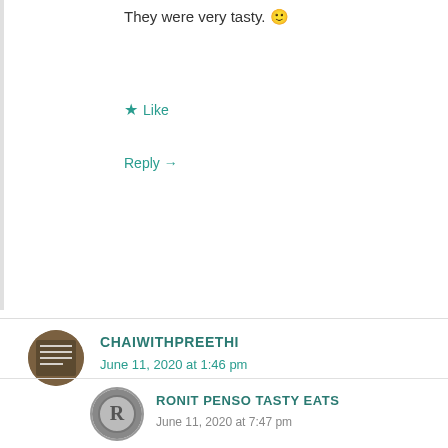They were very tasty. 🙂
★ Like
Reply →
CHAIWITHPREETHI
June 11, 2020 at 1:46 pm
Yum!
★ Like
Reply →
RONIT PENSO TASTY EATS